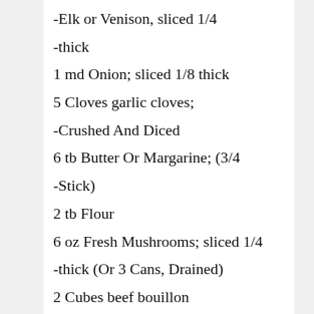1 1/2 lb Steak Meat from Bear, Beef,
-Elk or Venison, sliced 1/4
-thick
1 md Onion; sliced 1/8 thick
5 Cloves garlic cloves;
-Crushed And Diced
6 tb Butter Or Margarine; (3/4
-Stick)
2 tb Flour
6 oz Fresh Mushrooms; sliced 1/4
-thick (Or 3 Cans, Drained)
2 Cubes beef bouillon
1 Cup(Or More) wine; red,